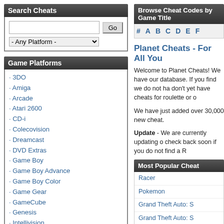Search Cheats
- Any Platform -
Game Platforms
3DO
Amiga
Arcade
Atari 2600
CD-i
Colecovision
Dreamcast
DVD Extras
Game Boy
Game Boy Advance
Game Boy Color
Game Gear
GameCube
Genesis
Intellivision
Jaguar
Lynx
Macintosh
Master Systems
Mobile Games
NES
Nintendo 64
Nintendo DS
Browse Cheat Codes by Game Title
# A B C D E F
Planet Cheats - For All You
Welcome to Planet Cheats! We have our database. If you find we do not ha don't yet have cheats for roulette or o
We have just added over 30,000 new cheat.
Update - We are currently updating o check back soon if you do not find a R
Most Popular Cheat
Racer
Pokemon
Grand Theft Auto: S
Grand Theft Auto: S
Grand Theft Auto: V
Grand Theft Auto: Li
Saints Row
Grand Theft Auto: S
Pokemon Leaf Gree
Pokemon Fire Red